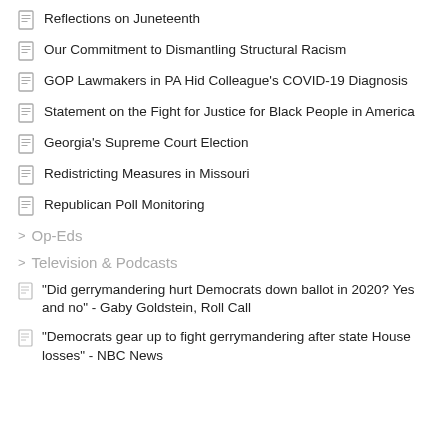Reflections on Juneteenth
Our Commitment to Dismantling Structural Racism
GOP Lawmakers in PA Hid Colleague's COVID-19 Diagnosis
Statement on the Fight for Justice for Black People in America
Georgia's Supreme Court Election
Redistricting Measures in Missouri
Republican Poll Monitoring
> Op-Eds
> Television & Podcasts
"Did gerrymandering hurt Democrats down ballot in 2020? Yes and no" - Gaby Goldstein, Roll Call
"Democrats gear up to fight gerrymandering after state House losses" - NBC News